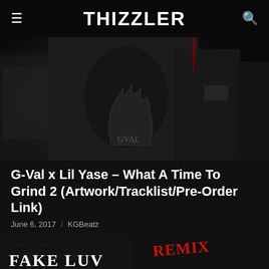THIZZLER
[Figure (photo): Hero image for G-Val x Lil Yase article showing dark moody photo collage with GVal logo and person holding money]
G-Val x Lil Yase – What A Time To Grind 2 (Artwork/Tracklist/Pre-Order Link)
June 6, 2017  /  KGBeatz
@WhoIsGVal x @LilYase60 recently announced they'll be delivering a second installment of their "What A Time To Grind" album series. The Hunter's...
[Figure (photo): Second article card image showing 'FAKE LUV REMIX' cover art with red graffiti-style text on dark money background]